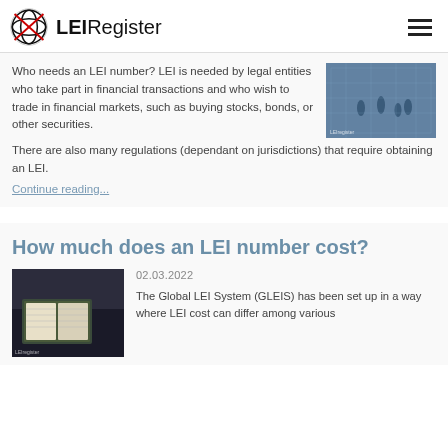LEIRegister
Who needs an LEI number? LEI is needed by legal entities who take part in financial transactions and who wish to trade in financial markets, such as buying stocks, bonds, or other securities. There are also many regulations (dependant on jurisdictions) that require obtaining an LEI.
Continue reading...
How much does an LEI number cost?
02.03.2022
The Global LEI System (GLEIS) has been set up in a way where LEI cost can differ among various